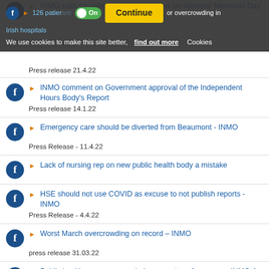INMO calls for safer working conditions on Workers' Memorial Day
We use cookies to make this site better, find out more  Cookies  On  Continue
126 patients are waiting for overcrowding in Irish hospitals
Press release 21.4.22
INMO comment on Government approval of the Independent Hours Body's Report
Press release 14.1.22
Emergency care should be diverted from Beaumont - INMO
Press Release - 11.4.22
Lack of nursing rep on new public health body a mistake
HSE should not use COVID as excuse to not publish reports - INMO
Press Release - 4.4.22
Worst March overcrowding on record – INMO
press release 31.03.22
Public health measures needed as a matter of urgency – INMO & IAEM
Press release 31.3.22